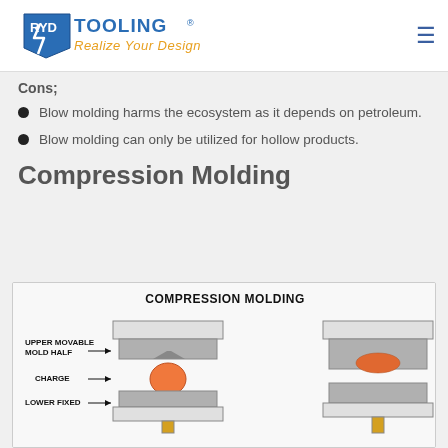RYD TOOLING® — Realize Your Design
Cons;
Blow molding harms the ecosystem as it depends on petroleum.
Blow molding can only be utilized for hollow products.
Compression Molding
[Figure (engineering-diagram): Compression Molding diagram showing two stages: left stage with Upper Movable Mold Half, Charge (orange ball), and Lower Fixed Mold Half; right stage showing the mold closed with compressed charge.]